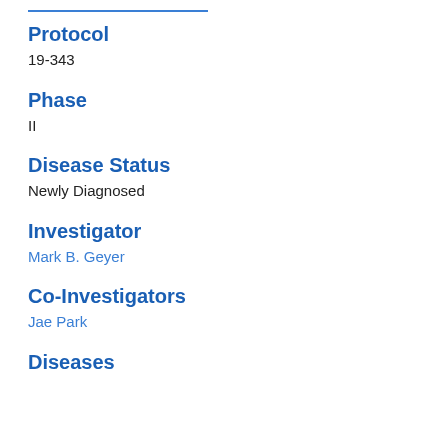Protocol
19-343
Phase
II
Disease Status
Newly Diagnosed
Investigator
Mark B. Geyer
Co-Investigators
Jae Park
Diseases